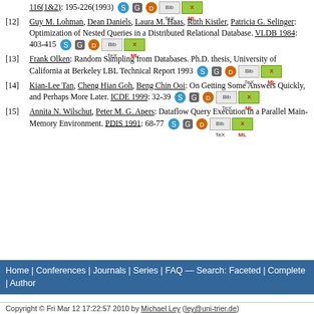[12] Guy M. Lohman, Dean Daniels, Laura M. Haas, Ruth Kistler, Patricia G. Selinger: Optimization of Nested Queries in a Distributed Relational Database. VLDB 1984: 403-415
[13] Frank Olken: Random Sampling from Databases. Ph.D. thesis, University of California at Berkeley LBL Technical Report 1993
[14] Kian-Lee Tan, Cheng Hian Goh, Beng Chin Ooi: On Getting Some Answers Quickly, and Perhaps More Later. ICDE 1999: 32-39
[15] Annita N. Wilschut, Peter M. G. Apers: Dataflow Query Execution in a Parallel Main-Memory Environment. PDIS 1991: 68-77
Home | Conferences | Journals | Series | FAQ — Search: Faceted | Complete | Author
Copyright © Fri Mar 12 17:22:57 2010 by Michael Ley (ley@uni-trier.de)